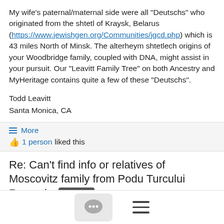My wife's paternal/maternal side were all "Deutschs" who originated from the shtetl of Kraysk, Belarus (https://www.jewishgen.org/Communities/jgcd.php) which is 43 miles North of Minsk. The alterheym shtetlech origins of your Woodbridge family, coupled with DNA, might assist in your pursuit. Our "Leavitt Family Tree" on both Ancestry and MyHeritage contains quite a few of these "Deutschs".
Todd Leavitt
Santa Monica, CA
≡ More
👍 1 person liked this
Re: Can't find info or relatives of Moscovitz family from Podu Turcului Romania #romania
skparker@... 12/25/21